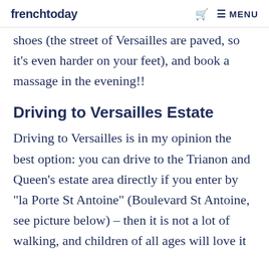frenchtoday   MENU
shoes (the street of Versailles are paved, so it's even harder on your feet), and book a massage in the evening!!
Driving to Versailles Estate
Driving to Versailles is in my opinion the best option: you can drive to the Trianon and Queen's estate area directly if you enter by "la Porte St Antoine" (Boulevard St Antoine, see picture below) – then it is not a lot of walking, and children of all ages will love it